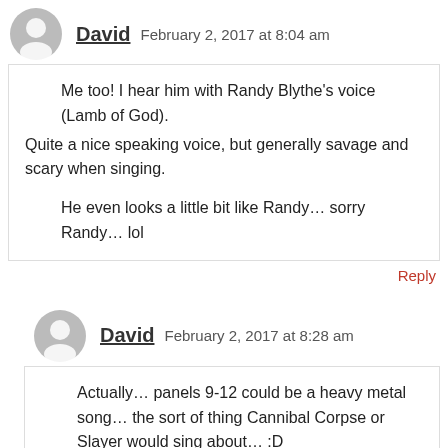David  February 2, 2017 at 8:04 am
Me too! I hear him with Randy Blythe's voice (Lamb of God).
Quite a nice speaking voice, but generally savage and scary when singing.
He even looks a little bit like Randy... sorry Randy... lol
Reply
David  February 2, 2017 at 8:28 am
Actually... panels 9-12 could be a heavy metal song... the sort of thing Cannibal Corpse or Slayer would sing about... :D